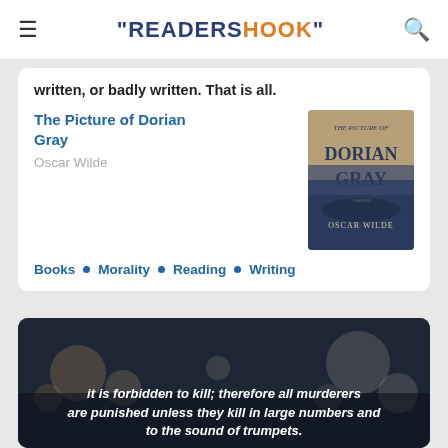"READERSHOOK"
written, or badly written. That is all.
The Picture of Dorian Gray
Oscar Wilde
[Figure (photo): Book cover of The Picture of Dorian Gray by Oscar Wilde — dark atmospheric landscape with large serif title text]
Books • Morality • Reading • Writing
[Figure (photo): Dark blurred bokeh background with italic white quote text: 'It is forbidden to kill; therefore all murderers are punished unless they kill in large numbers and to the sound of trumpets.']